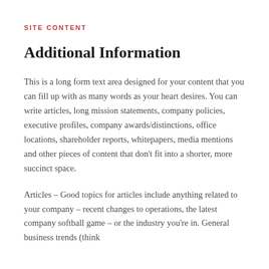SITE CONTENT
Additional Information
This is a long form text area designed for your content that you can fill up with as many words as your heart desires. You can write articles, long mission statements, company policies, executive profiles, company awards/distinctions, office locations, shareholder reports, whitepapers, media mentions and other pieces of content that don’t fit into a shorter, more succinct space.
Articles – Good topics for articles include anything related to your company – recent changes to operations, the latest company softball game – or the industry you’re in. General business trends (think